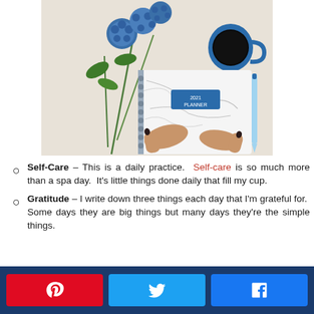[Figure (photo): Overhead flat-lay photo of a person's hands holding an open marble-cover spiral planner/notebook, with blue pom-pom flowers, a blue pen, and a blue coffee mug on a light beige background.]
Self-Care – This is a daily practice. Self-care is so much more than a spa day. It's little things done daily that fill my cup.
Gratitude – I write down three things each day that I'm grateful for. Some days they are big things but many days they're the simple things.
Share buttons: Pinterest, Twitter, Facebook